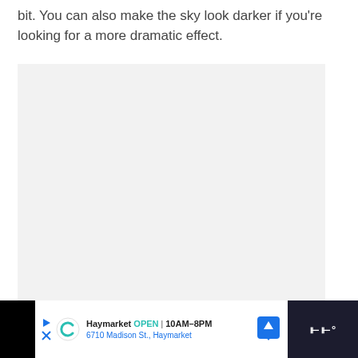bit. You can also make the sky look darker if you're looking for a more dramatic effect.
[Figure (photo): A large light gray placeholder image area]
[Figure (other): Teal circular heart/favorite button and white circular share button on the right side]
Haymarket OPEN | 10AM–8PM 6710 Madison St., Haymarket